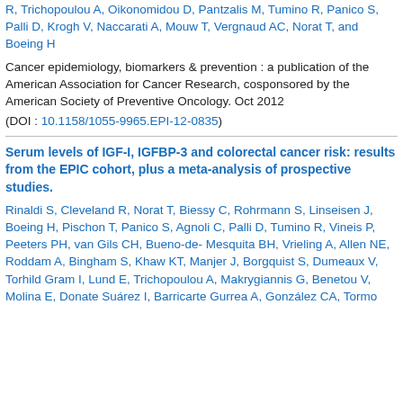R, Trichopoulou A, Oikonomidou D, Pantzalis M, Tumino R, Panico S, Palli D, Krogh V, Naccarati A, Mouw T, Vergnaud AC, Norat T, and Boeing H
Cancer epidemiology, biomarkers & prevention : a publication of the American Association for Cancer Research, cosponsored by the American Society of Preventive Oncology. Oct 2012
(DOI : 10.1158/1055-9965.EPI-12-0835)
Serum levels of IGF-I, IGFBP-3 and colorectal cancer risk: results from the EPIC cohort, plus a meta-analysis of prospective studies.
Rinaldi S, Cleveland R, Norat T, Biessy C, Rohrmann S, Linseisen J, Boeing H, Pischon T, Panico S, Agnoli C, Palli D, Tumino R, Vineis P, Peeters PH, van Gils CH, Bueno-de-Mesquita BH, Vrieling A, Allen NE, Roddam A, Bingham S, Khaw KT, Manjer J, Borgquist S, Dumeaux V, Torhild Gram I, Lund E, Trichopoulou A, Makrygiannis G, Benetou V, Molina E, Donate Suárez I, Barricarte Gurrea A, González CA, Tormo